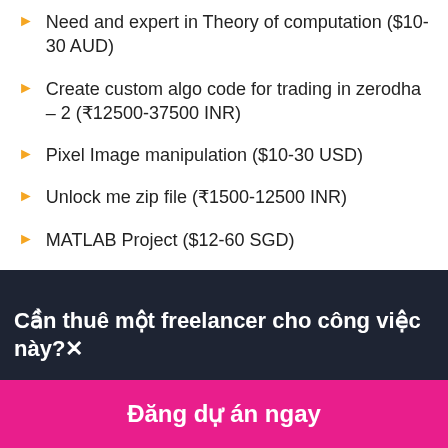Need and expert in Theory of computation ($10-30 AUD)
Create custom algo code for trading in zerodha – 2 (₹12500-37500 INR)
Pixel Image manipulation ($10-30 USD)
Unlock me zip file (₹1500-12500 INR)
MATLAB Project ($12-60 SGD)
Cần thuê một freelancer cho công việc này? ×
Đăng dự án ngay